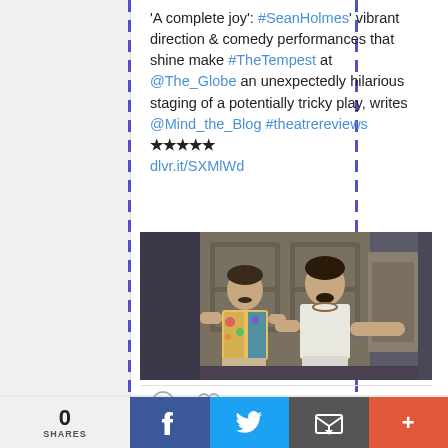'A complete joy': #SeanHolmes' vibrant direction & comedy performances that shine make #TheTempest at @The_Globe an unexpectedly hilarious staging of a potentially tricky play, writes @Mind_the_Blog #theatrereviews ★★★★★ dlvr.it/SXMlWd
[Figure (photo): Two male actors on stage, one wearing a floral shirt and the other in a white tank top, standing in front of a classical architectural backdrop]
0 SHARES